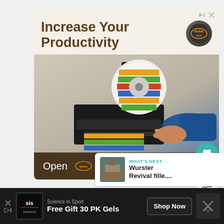[Figure (screenshot): Advertisement for a label dispenser product. Top section shows 'Increase Your Productivity' headline in brown text on cream background with brand logo (gold circular logo). Below is an image of a label dispenser machine with colorful labels being dispensed, with a hand reaching to take a label. Blue-sleeved person on right side. Bottom of ad has a dark brown 'Open >' button bar.]
544
WHAT'S NEXT → Wurster Revival fille....
[Figure (screenshot): Bottom banner advertisement for Science In Sport. Shows SIS logo on black background, text 'Science In Sport / Free Gift 30 PK Gels' with 'Shop Now' button and an X close icon on the right.]